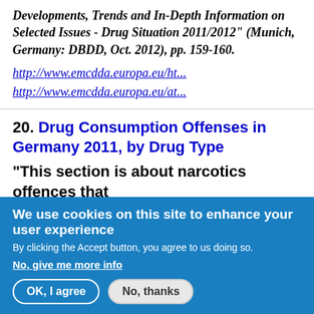Developments, Trends and In-Depth Information on Selected Issues - Drug Situation 2011/2012" (Munich, Germany: DBDD, Oct. 2012), pp. 159-160.
http://www.emcdda.europa.eu/ht...
http://www.emcdda.europa.eu/at...
20. Drug Consumption Offenses in Germany 2011, by Drug Type
"This section is about narcotics offences that
We use cookies on this site to enhance your user experience
By clicking the Accept button, you agree to us doing so.
No, give me more info
OK, I agree
No, thanks